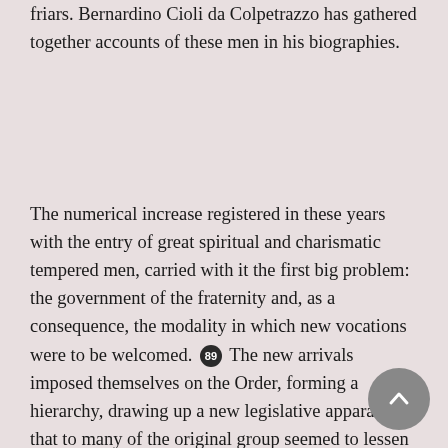friars. Bernardino Cioli da Colpetrazzo has gathered together accounts of these men in his biographies.
The numerical increase registered in these years with the entry of great spiritual and charismatic tempered men, carried with it the first big problem: the government of the fraternity and, as a consequence, the modality in which new vocations were to be welcomed. [89] The new arrivals imposed themselves on the Order, forming a hierarchy, drawing up a new legislative apparatus that to many of the original group seemed to lessen the spirit of contemplation. Ultimately, they gave to the “Reform [...] the true state of Religious life”, [90] giving equilibrium to the contemplative and active life.